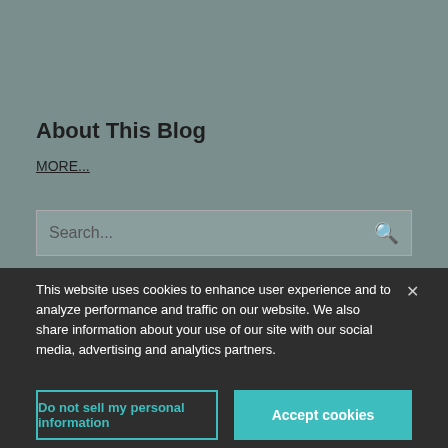About This Blog
MORE...
Search...
This website uses cookies to enhance user experience and to analyze performance and traffic on our website. We also share information about your use of our site with our social media, advertising and analytics partners.
Do not sell my personal information
Accept cookies